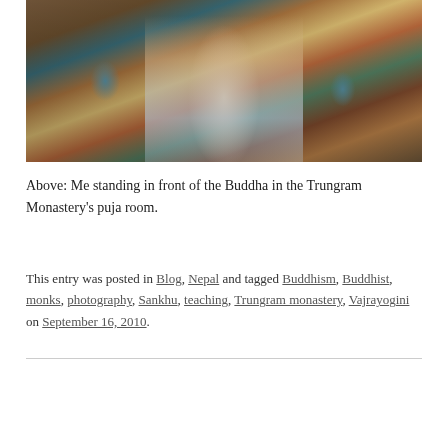[Figure (photo): Woman standing in front of the Buddha in the Trungram Monastery's puja room, surrounded by colorful Tibetan decorations, prayer items, and wooden benches.]
Above: Me standing in front of the Buddha in the Trungram Monastery's puja room.
This entry was posted in Blog, Nepal and tagged Buddhism, Buddhist, monks, photography, Sankhu, teaching, Trungram monastery, Vajrayogini on September 16, 2010.